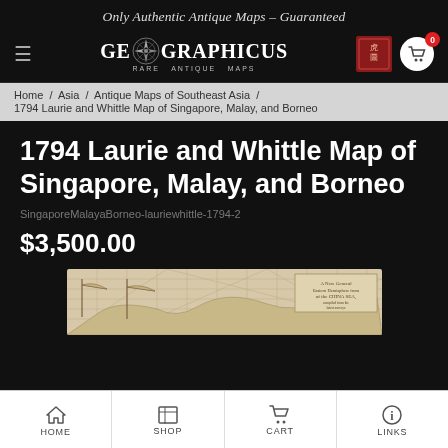Only Authentic Antique Maps – Guaranteed
[Figure (logo): Geographicus Rare Antique Maps logo with compass rose and red Chinese seal]
Home / Asia / Antique Maps of Southeast Asia / 1794 Laurie and Whittle Map of Singapore, Malay, and Borneo
1794 Laurie and Whittle Map of Singapore, Malay, and Borneo
SingaporeMalayaBorneo-lauriewhittle-1794-2
$3,500.00
[Figure (map): Antique map preview showing China Sea region]
HOME   SHOP   CART   LINKS